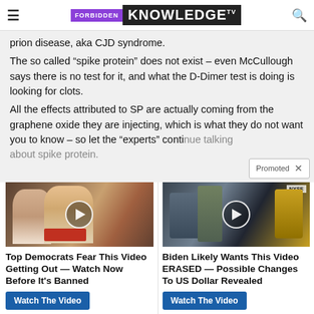FORBIDDEN KNOWLEDGE TV
prion disease, aka CJD syndrome.
The so called “spike protein” does not exist – even McCullough says there is no test for it, and what the D-Dimer test is doing is looking for clots.
All the effects attributed to SP are actually coming from the graphene oxide they are injecting, which is what they do not want you to know – so let the “experts” continue talking about spike protein.
[Figure (photo): Thumbnail photo showing two people (man and woman) with a circular play button overlay, for ad: Top Democrats Fear This Video Getting Out — Watch Now Before It's Banned]
Top Democrats Fear This Video Getting Out — Watch Now Before It’s Banned
Watch The Video
[Figure (photo): Thumbnail photo showing NYSE floor with people, a circular play button overlay and NYSE label, for ad: Biden Likely Wants This Video ERASED — Possible Changes To US Dollar Revealed]
Biden Likely Wants This Video ERASED — Possible Changes To US Dollar Revealed
Watch The Video